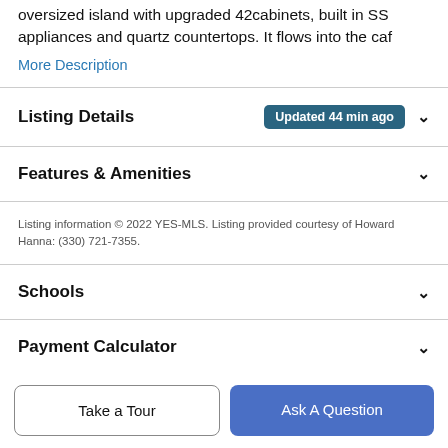oversized island with upgraded 42cabinets, built in SS appliances and quartz countertops. It flows into the caf
More Description
Listing Details  Updated 44 min ago
Features & Amenities
Listing information © 2022 YES-MLS. Listing provided courtesy of Howard Hanna: (330) 721-7355.
Schools
Payment Calculator
Take a Tour
Ask A Question